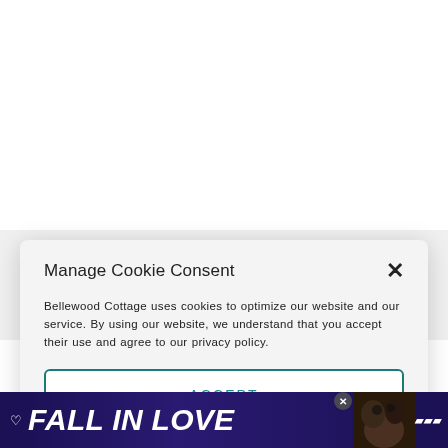[Figure (screenshot): Cookie consent modal dialog overlaying a webpage. Title 'Manage Cookie Consent' with close X button. Body text about Bellewood Cottage cookies policy. ACCEPT button with teal border. Two 'Privacy Policy' links. Floating favorite and share buttons. 'WHAT'S NEXT' widget with cookie image. Article text partially visible below. 'FALL IN LOVE' ad banner at bottom.]